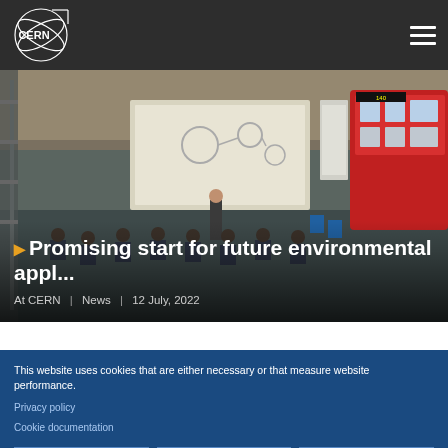CERN
[Figure (photo): Workshop or seminar scene in an industrial space. A presenter stands at a whiteboard with diagrams. Attendees seated in chairs face the presenter. On the right side, a red double-decker bus is visible. Various equipment and displays visible in the background.]
Promising start for future environmental appl...
At CERN | News | 12 July, 2022
This website uses cookies that are either necessary or that measure website performance.
Privacy policy
Cookie documentation
SETTINGS
ACCEPT ONLY NECESSARY
ACCEPT ALL